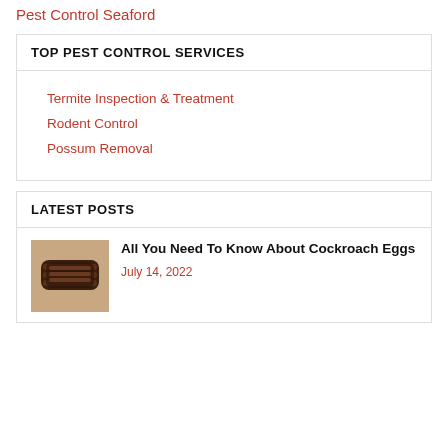Pest Control Seaford
TOP PEST CONTROL SERVICES
Termite Inspection & Treatment
Rodent Control
Possum Removal
LATEST POSTS
All You Need To Know About Cockroach Eggs
July 14, 2022